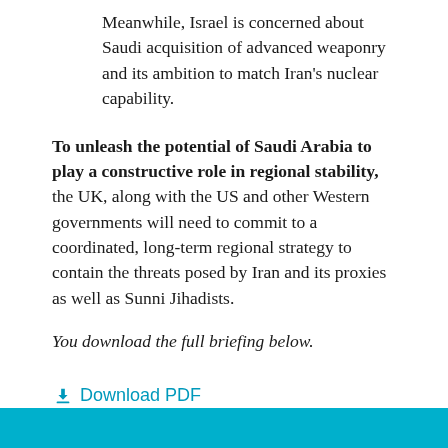Meanwhile, Israel is concerned about Saudi acquisition of advanced weaponry and its ambition to match Iran's nuclear capability.
To unleash the potential of Saudi Arabia to play a constructive role in regional stability, the UK, along with the US and other Western governments will need to commit to a coordinated, long-term regional strategy to contain the threats posed by Iran and its proxies as well as Sunni Jihadists.
You download the full briefing below.
Download PDF